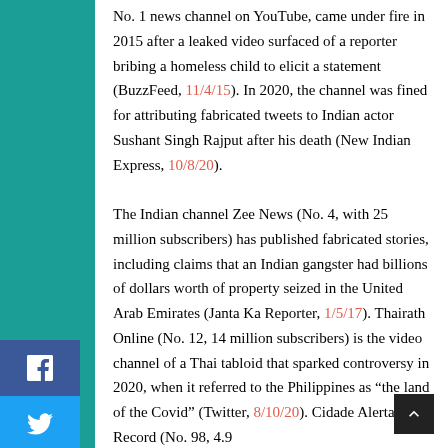No. 1 news channel on YouTube, came under fire in 2015 after a leaked video surfaced of a reporter bribing a homeless child to elicit a statement (BuzzFeed, 11/4/15). In 2020, the channel was fined for attributing fabricated tweets to Indian actor Sushant Singh Rajput after his death (New Indian Express, 10/8/20). The Indian channel Zee News (No. 4, with 25 million subscribers) has published fabricated stories, including claims that an Indian gangster had billions of dollars worth of property seized in the United Arab Emirates (Janta Ka Reporter, 1/5/17). Thairath Online (No. 12, 14 million subscribers) is the video channel of a Thai tabloid that sparked controversy in 2020, when it referred to the Philippines as “the land of the Covid” (Twitter, 8/10/20). Cidade Alerta Record (No. 98, 4.9